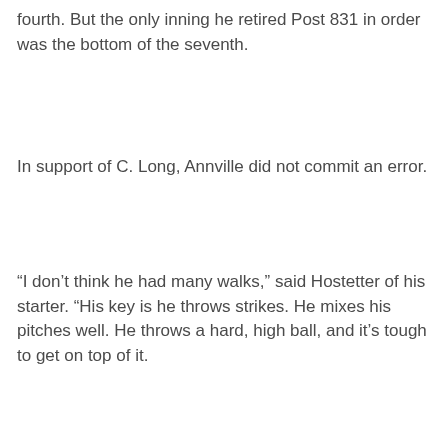fourth. But the only inning he retired Post 831 in order was the bottom of the seventh.
In support of C. Long, Annville did not commit an error.
“I don’t think he had many walks,” said Hostetter of his starter. “His key is he throws strikes. He mixes his pitches well. He throws a hard, high ball, and it’s tough to get on top of it.
“He’s got a funky kind of delivery that can be hard to pick up,” Hostetter added. “And our defense played well. You never know. Anything can happen.”
“It was nothing special,” said Morgan of C. Long. “Our guys were helping him out by swinging at high